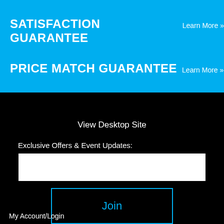SATISFACTION GUARANTEE Learn More »
PRICE MATCH GUARANTEE Learn More »
View Desktop Site
Exclusive Offers & Event Updates:
Join
My Account/Login